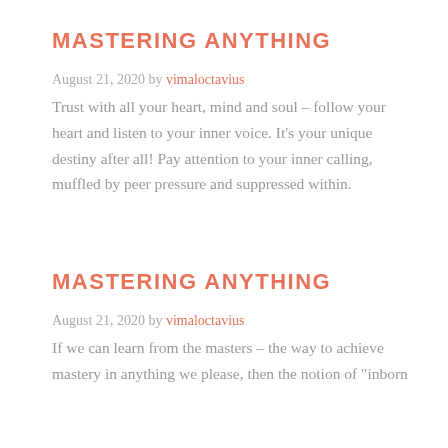MASTERING ANYTHING
August 21, 2020 by vimaloctavius
Trust with all your heart, mind and soul – follow your heart and listen to your inner voice. It's your unique destiny after all! Pay attention to your inner calling, muffled by peer pressure and suppressed within.
MASTERING ANYTHING
August 21, 2020 by vimaloctavius
If we can learn from the masters – the way to achieve mastery in anything we please, then the notion of "inborn